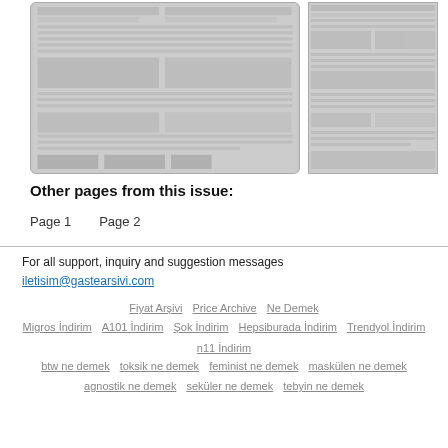[Figure (photo): Two newspaper page scans shown side by side: left is a larger scan of a classified/text newspaper page in grayscale, right is a smaller partial scan of a similar newspaper page.]
Other pages from this issue:
Page 1    Page 2
For all support, inquiry and suggestion messages
iletisim@gastearsivi.com
Fiyat Arşivi   Price Archive   Ne Demek
Migros İndirim   A101 İndirim   Şok İndirim   Hepsiburada İndirim   Trendyol İndirim
n11 İndirim
btw ne demek   toksik ne demek   feminist ne demek   maskülen ne demek
agnostik ne demek   seküler ne demek   tebyin ne demek